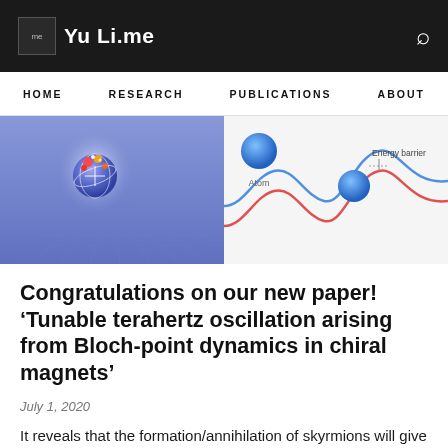Yu Li.me
[Figure (illustration): Scientific illustration showing a skyrmion on a blue lattice plane (left half) and an atom bouncing over an energy barrier on a wavy potential landscape (right half), with labels 'Atom' and 'Energy barrier'.]
Congratulations on our new paper! ‘Tunable terahertz oscillation arising from Bloch-point dynamics in chiral magnets’
July 1, 2020
It reveals that the formation/annihilation of skyrmions will give rise to an emergent electric field